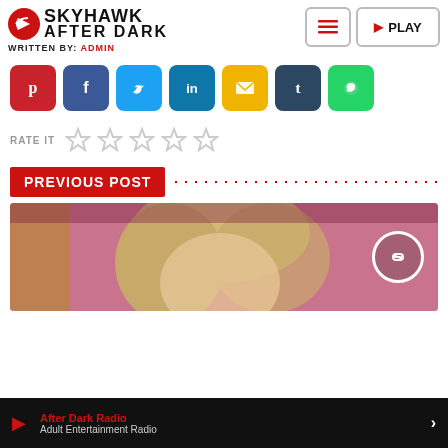Skyhawk After Dark — Written by: ADMIN
[Figure (screenshot): Social media sharing buttons: Pinterest, Facebook, Twitter, LinkedIn, Email, Tumblr, WhatsApp]
RATE IT ☆☆☆☆☆
PREVIOUS POST
[Figure (photo): Partial photo of a blonde person with pink background, with a link/chain icon circle overlay]
After Dark Radio — Adult Entertainment Radio